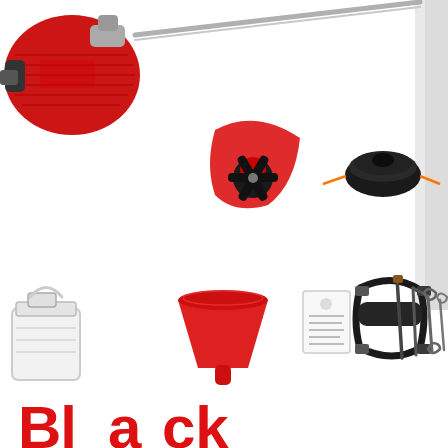[Figure (photo): Product photo showing a gas-powered string trimmer/brush cutter (red and grey engine unit with a long shaft) along with its accessories arranged below: a tri-blade cutter head with red guard, a string trimmer head (black bump-feed spool with orange line), a white plastic fuel can, a red plastic funnel, a small manual/instruction card, a black padded shoulder strap, and a set of tools (screwdriver, Allen/hex keys, and an open-end wrench). At the bottom, partial red stylized text is visible (appears to be a brand name beginning with letters that form large red block lettering, partially cut off).]